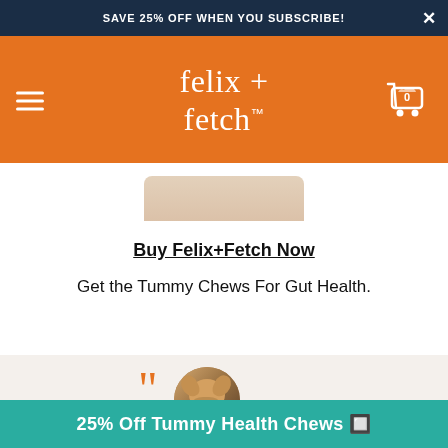SAVE 25% OFF WHEN YOU SUBSCRIBE!
[Figure (logo): Felix + Fetch brand logo in white text on orange background with hamburger menu icon on left and shopping cart with 0 items on right]
[Figure (photo): Partial product image visible at top of white content area]
Buy Felix+Fetch Now
Get the Tummy Chews For Gut Health.
[Figure (photo): Circular photo of a puppy (golden/cream colored) with orange quotation mark overlay, on gray background]
25% Off Tummy Health Chews 🔲